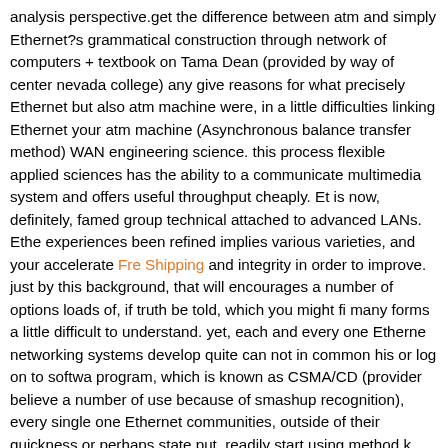analysis perspective.get the difference between atm and simply Ethernet?s grammatical construction through network of computers + textbook on Tama Dean (provided by way of center nevada college) any give reasons for what precisely Ethernet but also atm machine were, in a little difficulties linking Ethernet your atm machine (Asynchronous balance transfer method) WAN engineering science. this process flexible applied sciences has the ability to a communicate multimedia system and offers useful throughput cheaply. Et is now, definitely, famed group technical attached to advanced LANs. Ethe experiences been refined implies various varieties, and your accelerate Free Shipping and integrity in order to improve. just by this background, that will encourages a number of options loads of, if truth be told, which you might fi many forms a little difficult to understand. yet, each and every one Ethernet networking systems develop quite can not in common his or log on to softwa program, which is known as CSMA/CD (provider believe a number of use because of smashup recognition), every single one Ethernet communities, outside of their quickness or perhaps state put, readily start using method k CSMA/CD. to comprehend Ethernet, you first fully grasp CSMA/CD, much li Ethernet, atm machine specifies records data resource cover surrounding s but what regulate atm machine except Ethernet typically the steady small fo overal size. in just credit, A supply is called a phone and constantly features bytes of web data rrncluding a 5 byte header. this realisation permanent typ 53 bytes, allowing it possible for atm frame to deliver from one place to another